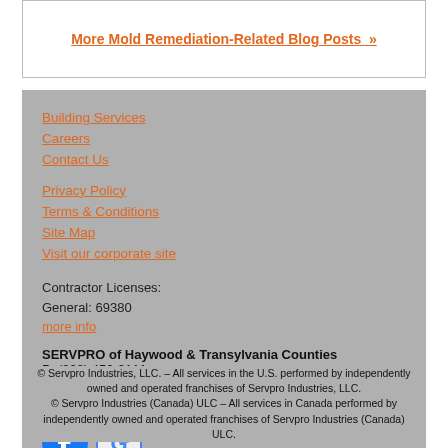More Mold Remediation-Related Blog Posts »
Building Services
Careers
Contact Us
Privacy Policy
Terms & Conditions
Site Map
Visit our corporate site
Contractor Licenses:
General: 69380
more info
SERVPRO of Haywood & Transylvania Counties
P: (828) 452-2111
293 Industrial Park Drive
Waynesville, NC 28786
[Figure (logo): Facebook logo icon and Google icon]
© Servpro Industries, LLC. – All services in the U.S. performed by independently owned and operated franchises of Servpro Industries, LLC.
© Servpro Industries (Canada) ULC – All services in Canada performed by independently owned and operated franchises of Servpro Industries (Canada) ULC.